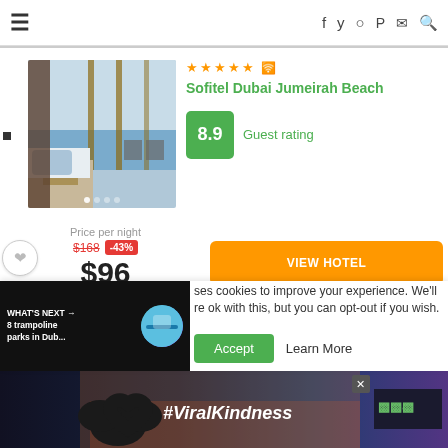≡  f  🐦  📷   pinterest  ✉  🔍
[Figure (photo): Hotel room photo showing a luxury room with blue cushion pillow, view of the sea through floor-to-ceiling windows, and outdoor terrace with chairs]
★★★★★ (wifi icon) Sofitel Dubai Jumeirah Beach
8.9  Guest rating
Price per night
$168 -43%
$96
VIEW HOTEL
uses cookies to improve your experience. We'll assume you're ok with this, but you can opt-out if you wish.
Accept   Learn More
WHAT'S NEXT → 8 trampoline parks in Dub...
[Figure (photo): Advertisement banner with hands forming a heart shape and text #ViralKindness on a sunset background]